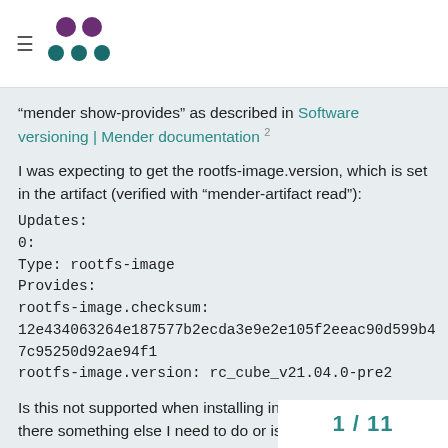Mender logo and navigation header
“mender show-provides” as described in Software versioning | Mender documentation 2

I was expecting to get the rootfs-image.version, which is set in the artifact (verified with “mender-artifact read”):
Updates:
0:
Type: rootfs-image
Provides:
rootfs-image.checksum:
12e434063264e187577b2ecda3e9e2e105f2eeac90d599b47c95250d92ae94f1
rootfs-image.version: rc_cube_v21.04.0-pre2

Is this not supported when installing in standalone mode, is there something else I need to do or is this a bug?

Thanks, Felix
1 / 11